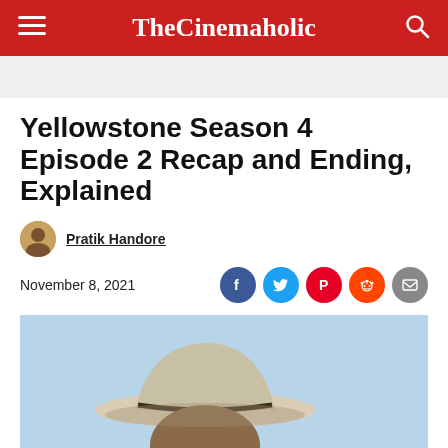TheCinemaholic
Yellowstone Season 4 Episode 2 Recap and Ending, Explained
Pratik Handore
November 8, 2021
[Figure (photo): A man wearing a tan cowboy hat against a light blue sky background]